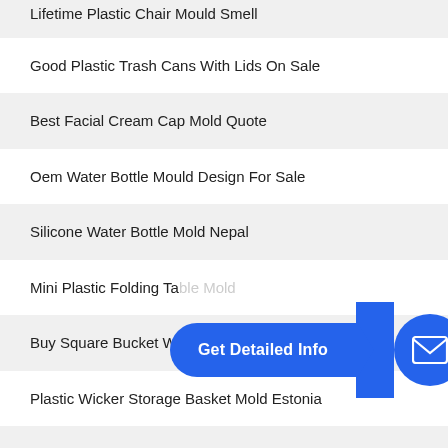Lifetime Plastic Chair Mould Smell
Good Plastic Trash Cans With Lids On Sale
Best Facial Cream Cap Mold Quote
Oem Water Bottle Mould Design For Sale
Silicone Water Bottle Mold Nepal
Mini Plastic Folding Ta...
Buy Square Bucket With Lid
Plastic Wicker Storage Basket Mold Estonia
Affordable Plastic Water Bucket Mould
Plastic Bucket With Handle And Lid Kazakhstan